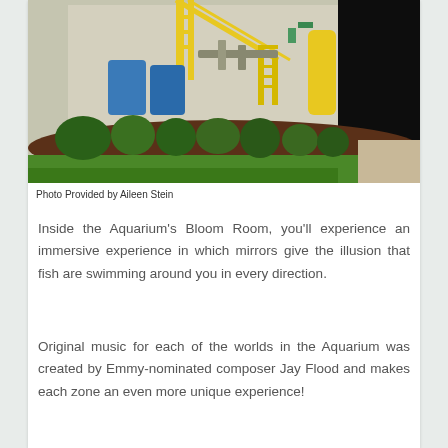[Figure (illustration): Exterior rendering of an aquarium or industrial facility with yellow crane/scaffolding structures, blue tanks, green landscaping with shrubs and grass in the foreground, and a black building on the right side.]
Photo Provided by Aileen Stein
Inside the Aquarium's Bloom Room, you'll experience an immersive experience in which mirrors give the illusion that fish are swimming around you in every direction.
Original music for each of the worlds in the Aquarium was created by Emmy-nominated composer Jay Flood and makes each zone an even more unique experience!